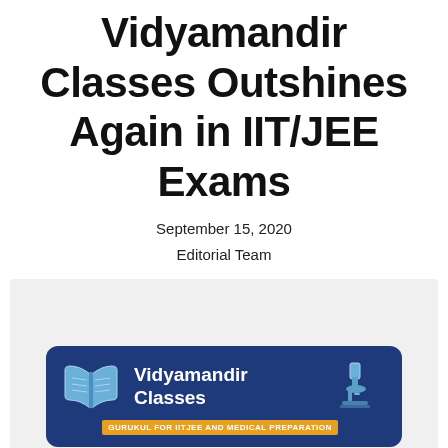Vidyamandir Classes Outshines Again in IIT/JEE Exams
September 15, 2020
Editorial Team
[Figure (logo): Vidyamandir Classes logo on a dark blue rounded rectangle. Contains an open book icon, the text 'Vidyamandir Classes', tagline 'GURUKUL FOR IITJEE AND MEDICAL PREPARATION' in orange bar, a microscope icon, and below: 'IMPARTING QUALITY EDUCATION SINCE 1986' in blue letters. A pink/salmon scroll-to-top button is in the bottom right corner.]